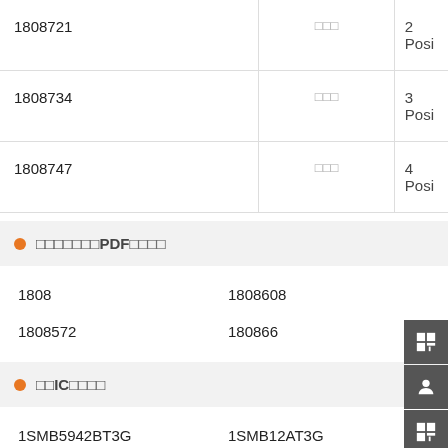| ID | Type | Description |
| --- | --- | --- |
| 1808721 | □□□ | 2 Posi... |
| 1808734 | □□□ | 3 Posi... |
| 1808747 | □□□ | 4 Posi... |
□□□□□□□PDF□□□□
1808  1808608  1
1808572  180866  1
□□IC□□□□
1SMB5942BT3G  1SMB12AT3G  1
10MQ100NTRPBF  1SS322  1SMB5...